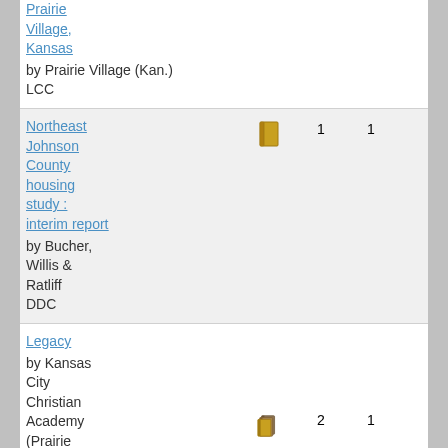| Title | Format | Copies | Editions | Pub Year | Edition Year |
| --- | --- | --- | --- | --- | --- |
| Prairie Village, Kansas
by Prairie Village (Kan.)
LCC |  |  |  |  |  |
| Northeast Johnson County housing study : interim report
by Bucher, Willis & Ratliff
DDC | [book icon] | 1 | 1 | 1997 | 1997 |
| Legacy
by Kansas City Christian Academy (Prairie Village, Kan.) | [books icon] | 2 | 1 | 1989 | 1989 |